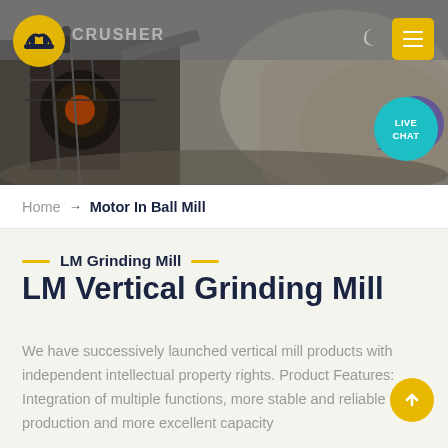[Figure (photo): Mining/quarry site with heavy machinery (crusher equipment) and rocky terrain in background. Dark industrial photograph with machinery visible on left side.]
CRUSHER (logo) | Moon icon | Menu button | LIVE CHAT bubble
Home → Motor In Ball Mill
LM Grinding Mill
LM Vertical Grinding Mill
We have successively launched vertical mill products with independent intellectual property rights. Product Features: Integration of multiple functions, more stable and reliable production and more excellent capacity